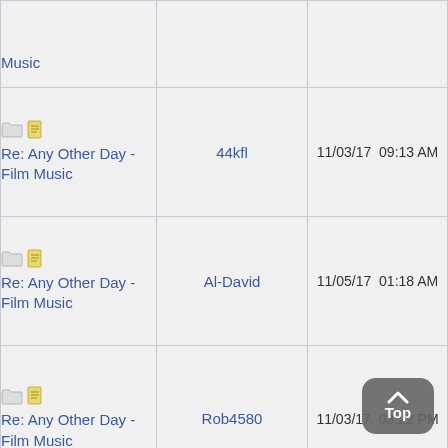| Topic | Author | Date |
| --- | --- | --- |
| Re: Any Other Day - Film Music | 44kfl | 11/03/17  09:13 AM |
| Re: Any Other Day - Film Music | Al-David | 11/05/17  01:18 AM |
| Re: Any Other Day - Film Music | Rob4580 | 11/03/17  03:22 PM |
| Re: ... |  |  |